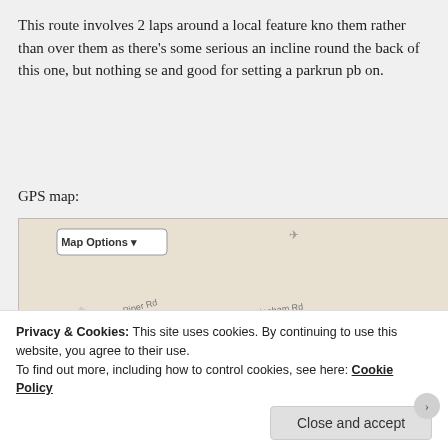This route involves 2 laps around a local feature kno them rather than over them as there's some serious an incline round the back of this one, but nothing se and good for setting a parkrun pb on.
GPS map:
[Figure (map): GPS route map showing a running route along the River Tyne near Ovingham Rd and Piper Rd. The route is drawn in red with start (green play button), end (red stop square), and numbered waypoint markers. A 'Map Options' dropdown button is visible in the top-left.]
Privacy & Cookies: This site uses cookies. By continuing to use this website, you agree to their use.
To find out more, including how to control cookies, see here: Cookie Policy
Close and accept